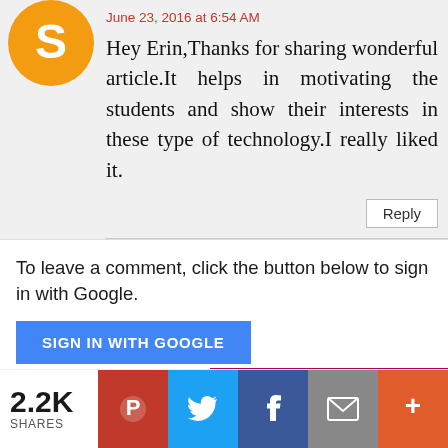[Figure (illustration): Orange circular avatar/profile icon, top-left of comment block]
June 23, 2016 at 6:54 AM
Hey Erin,Thanks for sharing wonderful article.It helps in motivating the students and show their interests in these type of technology.I really liked it.
Reply
To leave a comment, click the button below to sign in with Google.
SIGN IN WITH GOOGLE
2.2K SHARES